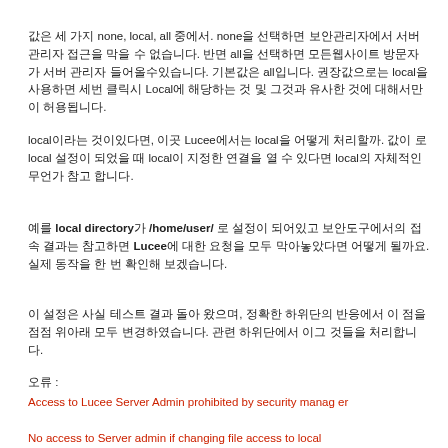값은 세 가지 none, local, all 중에서. none을 선택하면 보안관리자에서 서버 관리자 접근을 막을 수 없습니다. 반면 all을 선택하면 모든웹사이트 방문자가 서버 관리자 들어올수있습니다. 기본값은 all입니다. 권장값으로는 local을 사용하면 세번 클릭시 Local에 해당하는 것 및 그것과 유사한 것에 대해서만이 허용됩니다.
local이라는 것이있다면, 이곳 Lucee에서는 local을 어떻게 처리할까. 값이 로 local 설정이 되었을 때 local이 지정한 연결을 열 수 있다면 local의 자체적인 무언가 참고 합니다.
예를 local directory가 /home/user/ 로 설정이 되어있고 보안도구에서 Lucee에 대한 요청을 모두 막아놓았다면 어떻게 될까요. 실제 동작을 한 번 확인해 보겠습니다.
이 설정은 사실 테스트 결과 돌아 왔으며, 정확한 하위단의 반응에서 이 점을 점점 위아래 모두 변경하였습니다. 관련 하위단에서 이그 것들을 처리합니다.
오류 :
Access to Lucee Server Admin prohibited by security manager
No access to Server admin if changing file access to local